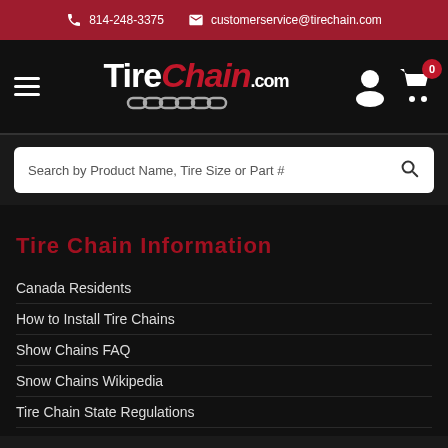814-248-3375  customerservice@tirechain.com
[Figure (logo): TireChain.com logo with chain link graphic, hamburger menu, user icon, and cart icon with 0 badge]
Search by Product Name, Tire Size or Part #
Tire Chain Information
Canada Residents
How to Install Tire Chains
Show Chains FAQ
Snow Chains Wikipedia
Tire Chain State Regulations